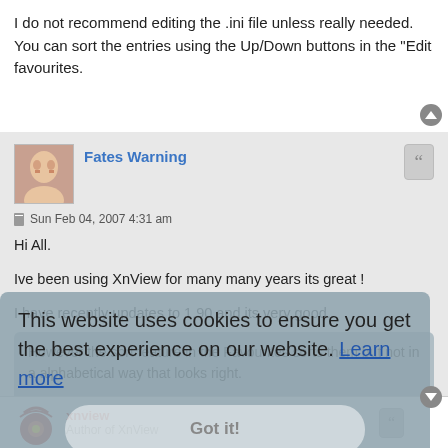I do not recommend editing the .ini file unless really needed. You can sort the entries using the Up/Down buttons in the "Edit favourites.
Fates Warning
Sun Feb 04, 2007 4:31 am
Hi All.

Ive been using XnView for many many years its great !

I have recently updates to 1.90 and its very good.
However the sort feature in the Favourites sorts them but not in a alphabetical way that looks right.

Please return the up down arrows option !

Cheers
This website uses cookies to ensure you get the best experience on our website. Learn more
Got it!
xnview
Author of XnView